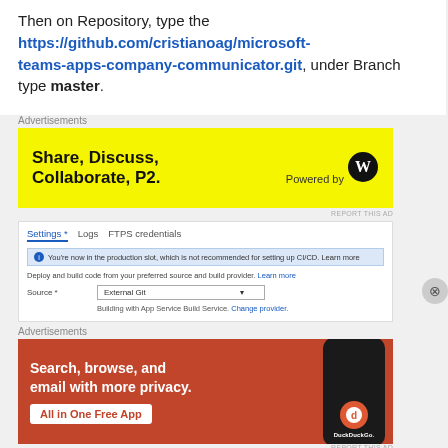Then on Repository, type the https://github.com/cristianoag/microsoft-teams-apps-company-communicator.git, under Branch type master.
Advertisements
[Figure (illustration): Yellow advertisement banner: Share, Discuss, Collaborate, P2. Powered by WordPress logo.]
[Figure (screenshot): Azure App Service Deployment Center screenshot showing Settings, Logs, FTPS credentials tabs. Info bar: You're now in the production slot, which is not recommended for setting up CI/CD. Learn more. Deploy and build code from your preferred source and build provider. Learn more. Source: External Git dropdown. Building with App Service Build Service. Change provider.]
Advertisements
[Figure (illustration): Orange DuckDuckGo advertisement: Search, browse, and email with more privacy. All in One Free App. Shows phone mockup with DuckDuckGo logo.]